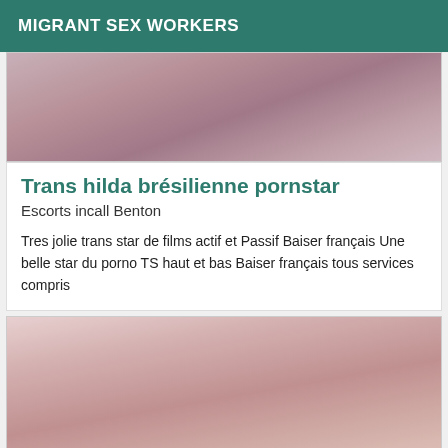MIGRANT SEX WORKERS
[Figure (photo): Top portion of a photo showing a person lying down, partially visible from above]
Trans hilda brésilienne pornstar
Escorts incall Benton
Tres jolie trans star de films actif et Passif Baiser français Une belle star du porno TS haut et bas Baiser français tous services compris
[Figure (photo): Photo of a person in lingerie with a mirrored/reversed phone number watermark: 0753235346]